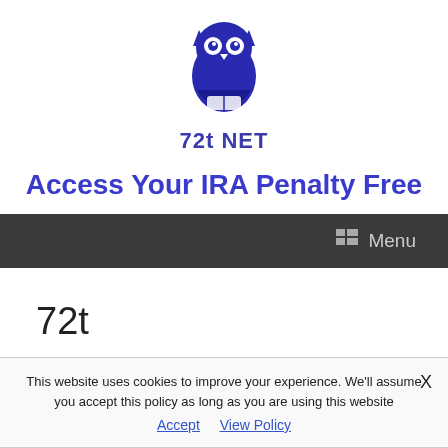[Figure (logo): Blue owl logo icon for 72t NET]
72t NET
Access Your IRA Penalty Free
Menu
72t
This website uses cookies to improve your experience. We'll assume you accept this policy as long as you are using this website
Accept   View Policy